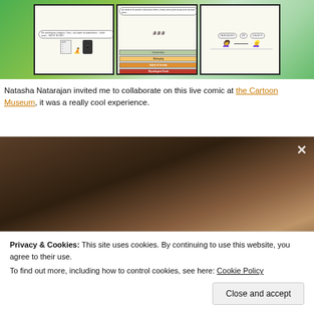[Figure (illustration): A three-panel hand-drawn comic strip with green background. Left panel shows a person meditating with a phone showing 'Duolingo'. Middle panel shows a layered pyramid/hierarchy of needs with labels (Connections, Belonging, Identity, Safety & Security, Physiological Needs) and a figure on top. Right panel shows two characters at a table in conversation.]
Natasha Natarajan invited me to collaborate on this live comic at the Cartoon Museum, it was a really cool experience.
[Figure (photo): A dark photograph showing hands drawing or writing, with a pencil visible. The image has warm brown tones. An X close button is visible in the top right corner.]
Privacy & Cookies: This site uses cookies. By continuing to use this website, you agree to their use.
To find out more, including how to control cookies, see here: Cookie Policy